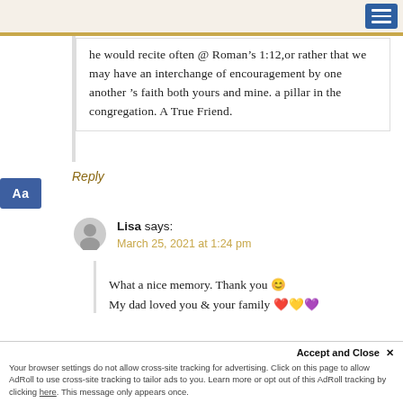he would recite often @ Roman’s 1:12,or rather that we may have an interchange of encouragement by one another ’s faith both yours and mine. a pillar in the congregation. A True Friend.
Reply
Lisa says:
March 25, 2021 at 1:24 pm
What a nice memory. Thank you 😊 My dad loved you & your family ❤️💛💜
Accept and Close × Your browser settings do not allow cross-site tracking for advertising. Click on this page to allow AdRoll to use cross-site tracking to tailor ads to you. Learn more or opt out of this AdRoll tracking by clicking here. This message only appears once.